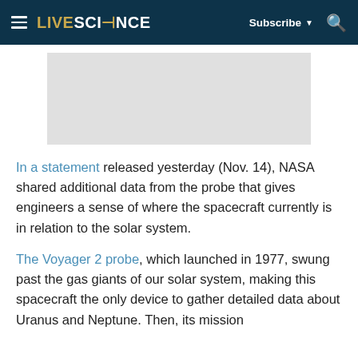LIVESCIENCE | Subscribe | [Search]
[Figure (other): Gray placeholder advertisement banner image]
In a statement released yesterday (Nov. 14), NASA shared additional data from the probe that gives engineers a sense of where the spacecraft currently is in relation to the solar system.
The Voyager 2 probe, which launched in 1977, swung past the gas giants of our solar system, making this spacecraft the only device to gather detailed data about Uranus and Neptune. Then, its mission complete, Voyager 2 has slowly been set toward the...